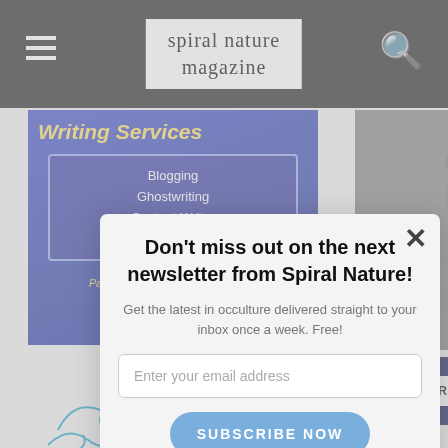spiral nature magazine
[Figure (screenshot): Writing Services ad - blue/purple background with text: Writing Services, Blogging, Ghostwriting, Content Writer & More!, Passionate About All Things Witchy!]
[Figure (photo): Dark/silver glitter background with text: COME HOME TO YOUR BODY]
[Figure (screenshot): Your Personal Astrologer ad with POWERED BY SUMO logo]
[Figure (illustration): Decorative scroll/flourish illustration in teal and gold]
[Figure (screenshot): Popup modal - newsletter signup for Spiral Nature magazine]
Don't miss out on the next newsletter from Spiral Nature!
Get the latest in occulture delivered straight to your inbox once a week. Free!
Enter your email address
SUBSCRIBE NOW